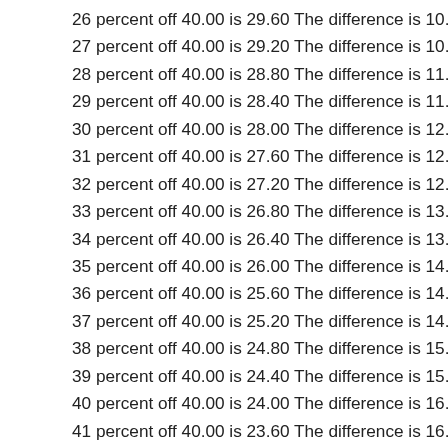26 percent off 40.00 is 29.60 The difference is 10.40
27 percent off 40.00 is 29.20 The difference is 10.80
28 percent off 40.00 is 28.80 The difference is 11.20
29 percent off 40.00 is 28.40 The difference is 11.60
30 percent off 40.00 is 28.00 The difference is 12.00
31 percent off 40.00 is 27.60 The difference is 12.40
32 percent off 40.00 is 27.20 The difference is 12.80
33 percent off 40.00 is 26.80 The difference is 13.20
34 percent off 40.00 is 26.40 The difference is 13.60
35 percent off 40.00 is 26.00 The difference is 14.00
36 percent off 40.00 is 25.60 The difference is 14.40
37 percent off 40.00 is 25.20 The difference is 14.80
38 percent off 40.00 is 24.80 The difference is 15.20
39 percent off 40.00 is 24.40 The difference is 15.60
40 percent off 40.00 is 24.00 The difference is 16.00
41 percent off 40.00 is 23.60 The difference is 16.40
42 percent off 40.00 is 23.20 The difference is 16.80
43 percent off 40.00 is 22.80 The difference is 17.20
44 percent off 40.00 is 22.40 The difference is 17.60
45 percent off 40.00 is 22.00 The difference is 18.00
46 percent off 40.00 is 21.60 The difference is 18.40
47 percent off 40.00 is 21.20 The difference is 18.80
48 percent off 40.00 is 20.80 The difference is 19.20